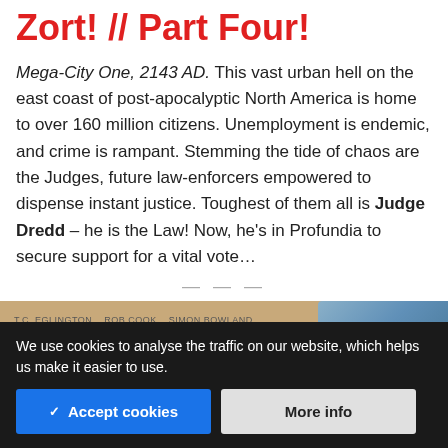Zort! // Part Four!
Mega-City One, 2143 AD. This vast urban hell on the east coast of post-apocalyptic North America is home to over 160 million citizens. Unemployment is endemic, and crime is rampant. Stemming the tide of chaos are the Judges, future law-enforcers empowered to dispense instant justice. Toughest of them all is Judge Dredd – he is the Law! Now, he's in Profundia to secure support for a vital vote…
[Figure (illustration): Partial comic book cover or panel image with sandy/tan background and a blue armored figure on the right side, with small text credits at top left reading creators' names.]
We use cookies to analyse the traffic on our website, which helps us make it easier to use.
✓ Accept cookies
More info